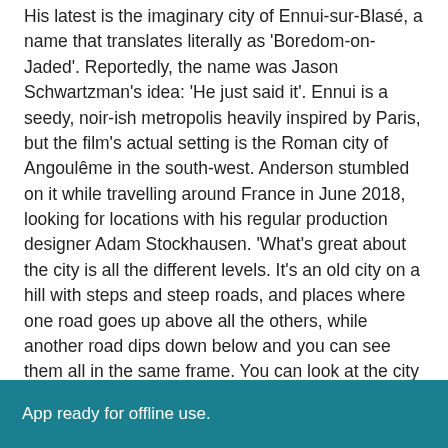His latest is the imaginary city of Ennui-sur-Blasé, a name that translates literally as 'Boredom-on-Jaded'. Reportedly, the name was Jason Schwartzman's idea: 'He just said it'. Ennui is a seedy, noir-ish metropolis heavily inspired by Paris, but the film's actual setting is the Roman city of Angoulême in the south-west. Anderson stumbled on it while travelling around France in June 2018, looking for locations with his regular production designer Adam Stockhausen. 'What's great about the city is all the different levels. It's an old city on a hill with steps and steep roads, and places where one road goes up above all the others, while another road dips down below and you can see them all in the same frame. You can look at the city not just on a map, but vertically. You can see different levels of it all at once.'
App ready for offline use.